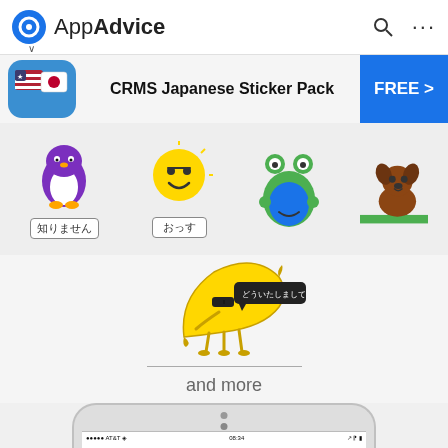AppAdvice
[Figure (screenshot): AppAdvice website header with logo, search icon, and menu]
[Figure (screenshot): Ad banner for CRMS Japanese Sticker Pack with flag icons and FREE button]
[Figure (illustration): Row of Japanese sticker characters: purple penguin with 知りません sign, sun emoji with おっす sign, green frog, and brown dog]
[Figure (illustration): Banana character with sunglasses and speech bubble saying どういたしまして]
and more
[Figure (screenshot): iPhone mockup showing top of phone with AT&T signal, 08:34 time, and battery indicator]